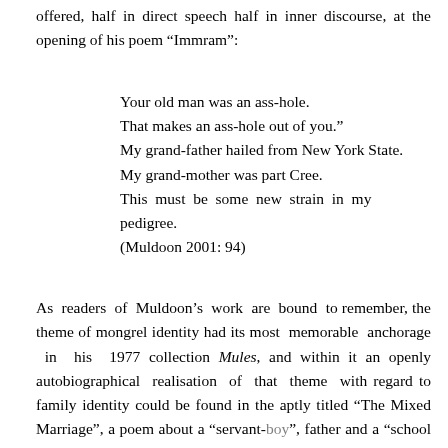offered, half in direct speech half in inner discourse, at the opening of his poem “Immram”:
Your old man was an ass-hole.
That makes an ass-hole out of you.”
My grand-father hailed from New York State.
My grand-mother was part Cree.
This must be some new strain in my pedigree.
(Muldoon 2001: 94)
As readers of Muldoon’s work are bound to remember, the theme of mongrel identity had its most memorable anchorage in his 1977 collection Mules, and within it an openly autobiographical realisation of that theme with regard to family identity could be found in the aptly titled “The Mixed Marriage”, a poem about a “servant-boy”, father and a “school mistress”, mother, which